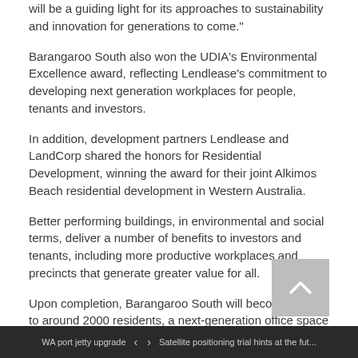will be a guiding light for its approaches to sustainability and innovation for generations to come.”
Barangaroo South also won the UDIA’s Environmental Excellence award, reflecting Lendlease’s commitment to developing next generation workplaces for people, tenants and investors.
In addition, development partners Lendlease and LandCorp shared the honors for Residential Development, winning the award for their joint Alkimos Beach residential development in Western Australia.
Better performing buildings, in environmental and social terms, deliver a number of benefits to investors and tenants, including more productive workplaces and precincts that generate greater value for all.
Upon completion, Barangaroo South will become home to around 2000 residents, a next-generation office space for 23,000 workers, and house more than 80 retail outlets. In addition, over 50 per cent of the precinct will be open public spaces for all to enjoy.
CEO Lendlease Property, Kylie Rampa, said, "Winning a trifecta of awards is testimony to the talent of our people across our business.
WA port jetty upgrade  ‹  ›  Satellite positioning trial hints at the fut...